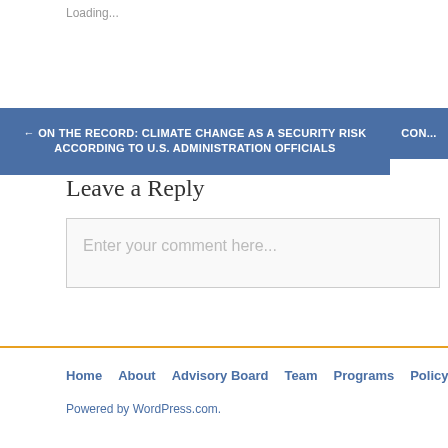Loading...
← ON THE RECORD: CLIMATE CHANGE AS A SECURITY RISK ACCORDING TO U.S. ADMINISTRATION OFFICIALS
Leave a Reply
Enter your comment here...
Home  About  Advisory Board  Team  Programs  Policy  Publications
Powered by WordPress.com.